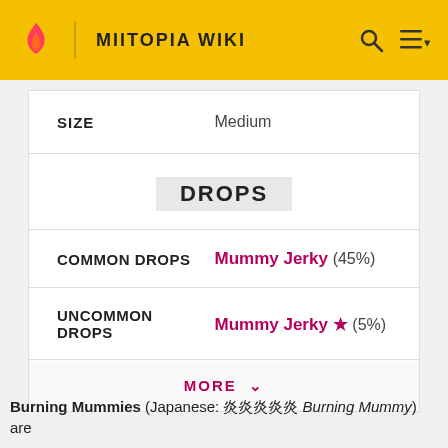MIITOPIA WIKI
|  |  |
| --- | --- |
| SIZE | Medium |
| DROPS |  |
| COMMON DROPS | Mummy Jerky (45%) |
| UNCOMMON DROPS | Mummy Jerky ★ (5%) |
MORE ∨
Burning Mummies (Japanese: 炎炎炎炎炎 Burning Mummy) are